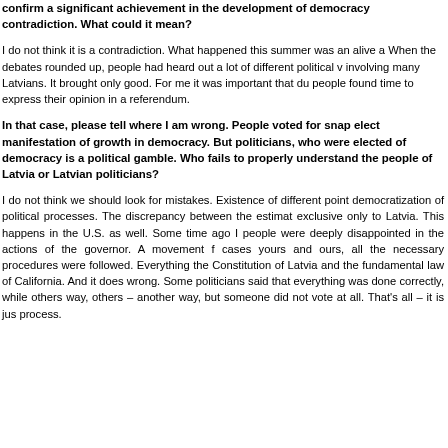confirm a significant achievement in the development of democracy contradiction. What could it mean?
I do not think it is a contradiction. What happened this summer was an alive a When the debates rounded up, people had heard out a lot of different political v involving many Latvians. It brought only good. For me it was important that du people found time to express their opinion in a referendum.
In that case, please tell where I am wrong. People voted for snap elect manifestation of growth in democracy. But politicians, who were elected of democracy is a political gamble. Who fails to properly understand the people of Latvia or Latvian politicians?
I do not think we should look for mistakes. Existence of different point democratization of political processes. The discrepancy between the estimat exclusive only to Latvia. This happens in the U.S. as well. Some time ago I people were deeply disappointed in the actions of the governor. A movement f cases yours and ours, all the necessary procedures were followed. Everything the Constitution of Latvia and the fundamental law of California. And it does wrong. Some politicians said that everything was done correctly, while others way, others – another way, but someone did not vote at all. That's all – it is jus process.